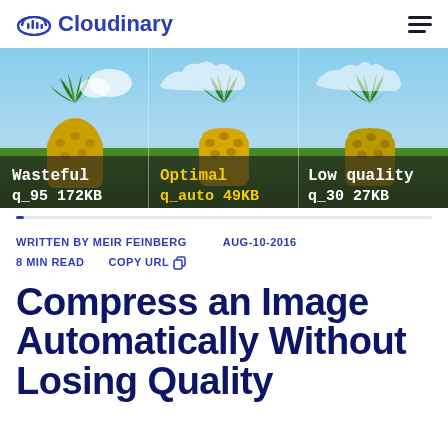Cloudinary
[Figure (photo): Three pineapple images side by side showing compression comparison: Wasteful q_95 172KB (left), Optimal q_auto 49KB (center, yellow text), Low quality q_30 27KB (right)]
WRITTEN BY MEIR FEINBERG   AUG-10-2016   8 MIN READ   COPY URL
Compress an Image Automatically Without Losing Quality